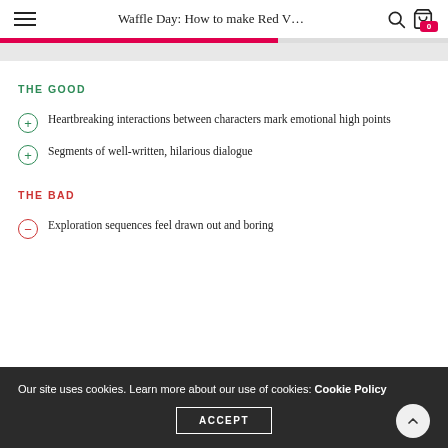Waffle Day: How to make Red V...
THE GOOD
Heartbreaking interactions between characters mark emotional high points
Segments of well-written, hilarious dialogue
THE BAD
Exploration sequences feel drawn out and boring
Our site uses cookies. Learn more about our use of cookies: Cookie Policy